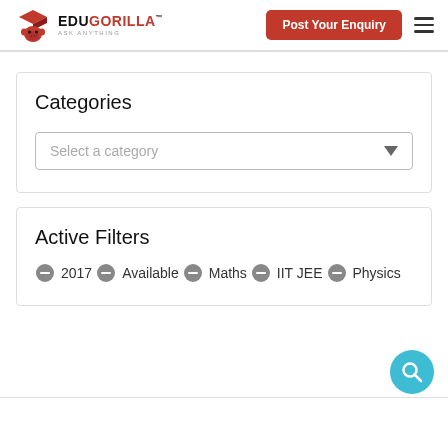[Figure (logo): EduGorilla logo with gorilla mascot wearing graduation cap and text EDUGORILLA ASK ANYTHING]
Post Your Enquiry
Categories
Select a category
Active Filters
2017
Available
Maths
IIT JEE
Physics